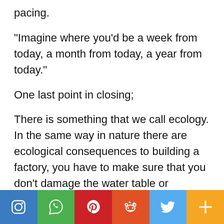pacing.
“Imagine where you’d be a week from today, a month from today, a year from today.”
One last point in closing;
There is something that we call ecology. In the same way in nature there are ecological consequences to building a factory, you have to make sure that you don’t damage the water table or perhaps cause air pollution. Even though the factory would create jobs and is good for the economy the factory might be bad for the ecology. In that cause
[Figure (infographic): Social media share buttons bar: Instagram (blue), WhatsApp (green), Pinterest (red), Reddit (orange-red), Twitter (light blue), More/Plus (orange)]